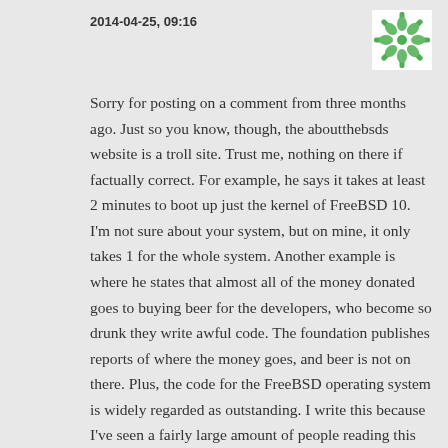2014-04-25, 09:16
[Figure (logo): Green and white decorative snowflake/flower avatar icon on white background]
Sorry for posting on a comment from three months ago. Just so you know, though, the aboutthebsds website is a troll site. Trust me, nothing on there if factually correct. For example, he says it takes at least 2 minutes to boot up just the kernel of FreeBSD 10. I'm not sure about your system, but on mine, it only takes 1 for the whole system. Another example is where he states that almost all of the money donated goes to buying beer for the developers, who become so drunk they write awful code. The foundation publishes reports of where the money goes, and beer is not on there. Plus, the code for the FreeBSD operating system is widely regarded as outstanding. I write this because I've seen a fairly large amount of people reading this